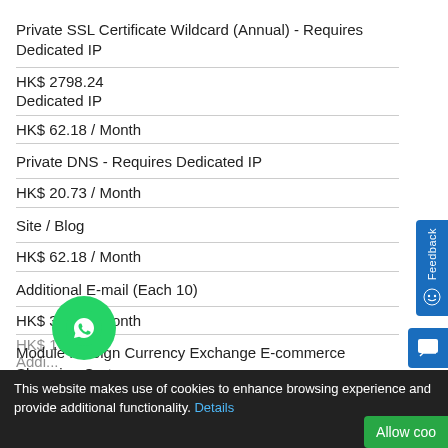Private SSL Certificate Wildcard (Annual) - Requires Dedicated IP
HK$ 2798.24 / Dedicated IP
HK$ 62.18 / Month
Private DNS - Requires Dedicated IP
HK$ 20.73 / Month
Site / Blog
HK$ 62.18 / Month
Additional E-mail (Each 10)
HK$ 31.09 / Month
Module Foreign Currency Exchange E-commerce Shopping Cart
This website makes use of cookies to enhance browsing experience and provide additional functionality. Details
Allow coo